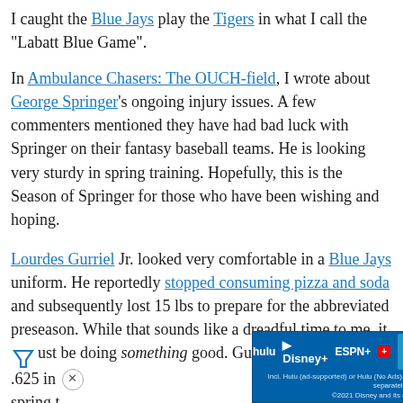I caught the Blue Jays play the Tigers in what I call the “Labatt Blue Game”.
In Ambulance Chasers: The OUCH-field, I wrote about George Springer’s ongoing injury issues. A few commenters mentioned they have had bad luck with Springer on their fantasy baseball teams. He is looking very sturdy in spring training. Hopefully, this is the Season of Springer for those who have been wishing and hoping.
Lourdes Gurriel Jr. looked very comfortable in a Blue Jays uniform. He reportedly stopped consuming pizza and soda and subsequently lost 15 lbs to prepare for the abbreviated preseason. While that sounds like a dreadful time to me, it must be doing something good. Gurriel Jr. is batting .625 in spring t…
[Figure (screenshot): Advertisement banner for Disney Bundle (Hulu, Disney+, ESPN+) with blue background and GET THE DISNEY BUNDLE call to action.]